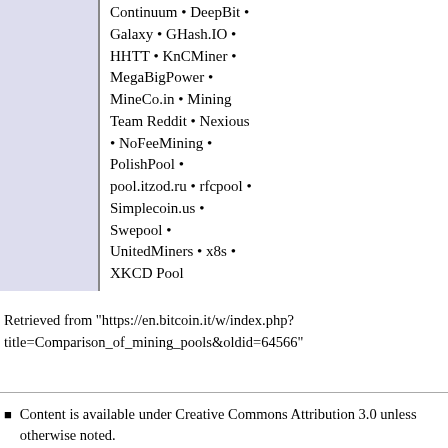Continuum • DeepBit • Galaxy • GHash.IO • HHTT • KnCMiner • MegaBigPower • MineCo.in • Mining Team Reddit • Nexious • NoFeeMining • PolishPool • pool.itzod.ru • rfcpool • Simplecoin.us • Swepool • UnitedMiners • x8s • XKCD Pool
Retrieved from "https://en.bitcoin.it/w/index.php?title=Comparison_of_mining_pools&oldid=64566"
Content is available under Creative Commons Attribution 3.0 unless otherwise noted.